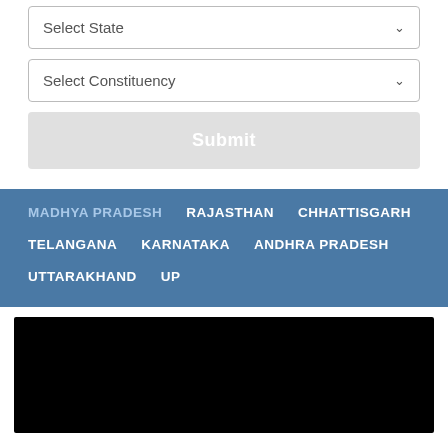Select State
Select Constituency
Submit
MADHYA PRADESH
RAJASTHAN
CHHATTISGARH
TELANGANA
KARNATAKA
ANDHRA PRADESH
UTTARAKHAND
UP
[Figure (other): Black rectangle placeholder image area]